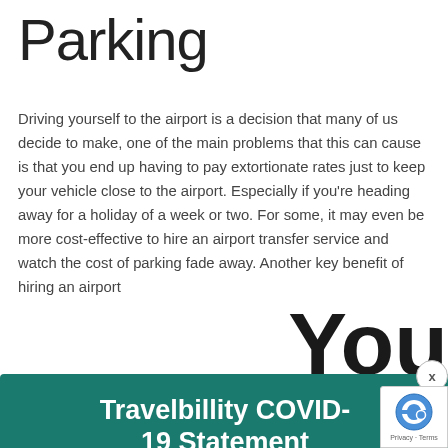Parking
Driving yourself to the airport is a decision that many of us decide to make, one of the main problems that this can cause is that you end up having to pay extortionate rates just to keep your vehicle close to the airport. Especially if you're heading away for a holiday of a week or two. For some, it may even be more cost-effective to hire an airport transfer service and watch the cost of parking fade away. Another key benefit of hiring an airport [transfer service is that it allows] ple to get a lot [more from the journey, as y] ou end up having [to spend a lot more]
[Figure (screenshot): Popup modal with teal background showing Travelbillity COVID-19 Statement with Find out more text and a Read More orange button. A close button (X) appears at top right of modal. A reCAPTCHA badge is at bottom right. Large text 'You' and 'ands' partially visible in background.]